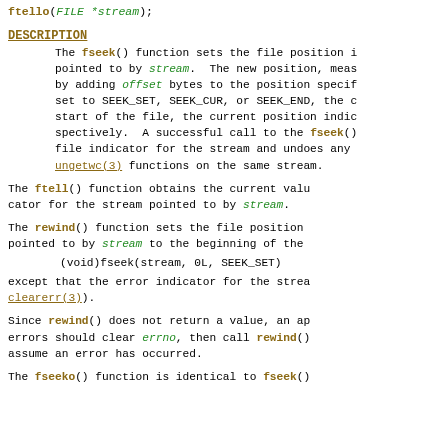ftello(FILE *stream);
DESCRIPTION
The fseek() function sets the file position i pointed to by stream. The new position, meas by adding offset bytes to the position specif set to SEEK_SET, SEEK_CUR, or SEEK_END, the c start of the file, the current position indic spectively. A successful call to the fseek() file indicator for the stream and undoes any ungetwc(3) functions on the same stream.
The ftell() function obtains the current valu cator for the stream pointed to by stream.
The rewind() function sets the file position pointed to by stream to the beginning of the
(void)fseek(stream, 0L, SEEK_SET)
except that the error indicator for the strea clearerr(3)).
Since rewind() does not return a value, an ap errors should clear errno, then call rewind() assume an error has occurred.
The fseeko() function is identical to fseek()